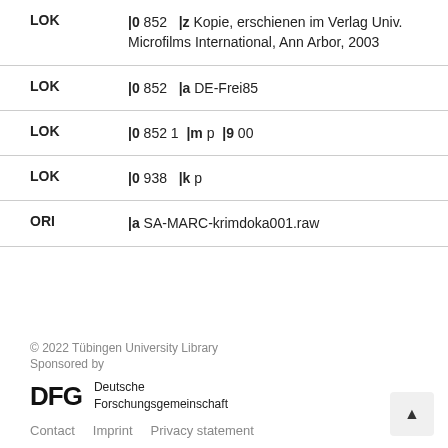| Label | Value |
| --- | --- |
| LOK | |0 852   |z Kopie, erschienen im Verlag Univ. Microfilms International, Ann Arbor, 2003 |
| LOK | |0 852   |a DE-Frei85 |
| LOK | |0 852 1   |m p  |9 00 |
| LOK | |0 938   |k p |
| ORI | |a SA-MARC-krimdoka001.raw |
© 2022 Tübingen University Library
Sponsored by
DFG Deutsche Forschungsgemeinschaft
Contact   Imprint   Privacy statement